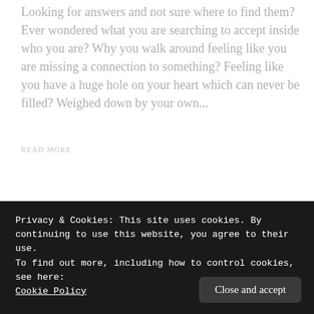Looking for answers and not sure where to find them? Ever wondered what you are searching to accept inside who you are? Why you walk around feeling like you are missing a connection to something? Feeling like you have a huge hole on your heart which can never be filled? Weighed down by your own...
READ MORE
Privacy & Cookies: This site uses cookies. By continuing to use this website, you agree to their use.
To find out more, including how to control cookies, see here:
Cookie Policy
Close and accept